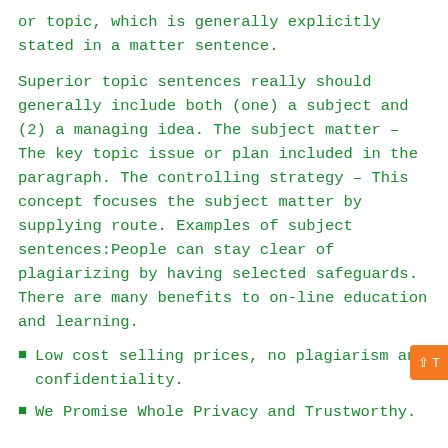or topic, which is generally explicitly stated in a matter sentence.
Superior topic sentences really should generally include both (one) a subject and (2) a managing idea. The subject matter – The key topic issue or plan included in the paragraph. The controlling strategy – This concept focuses the subject matter by supplying route. Examples of subject sentences:People can stay clear of plagiarizing by having selected safeguards. There are many benefits to on-line education and learning.
Low cost selling prices, no plagiarism and confidentiality.
We Promise Whole Privacy and Trustworthy.